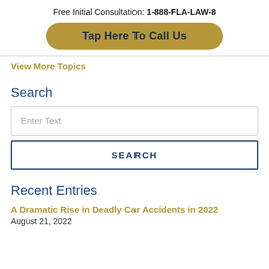Free Initial Consultation: 1-888-FLA-LAW-8
Tap Here To Call Us
View More Topics
Search
Enter Text
SEARCH
Recent Entries
A Dramatic Rise in Deadly Car Accidents in 2022
August 21, 2022